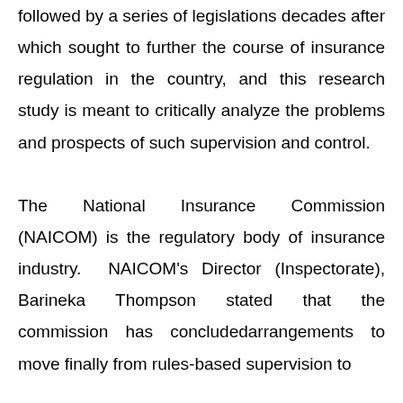followed by a series of legislations decades after which sought to further the course of insurance regulation in the country, and this research study is meant to critically analyze the problems and prospects of such supervision and control. The National Insurance Commission (NAICOM) is the regulatory body of insurance industry. NAICOM's Director (Inspectorate), Barineka Thompson stated that the commission has concludedarrangements to move finally from rules-based supervision to